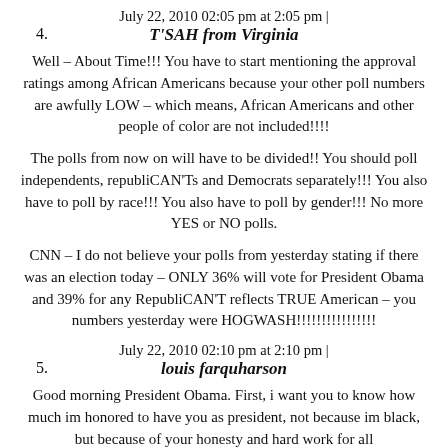July 22, 2010 02:05 pm at 2:05 pm |
4. T'SAH from Virginia
Well – About Time!!! You have to start mentioning the approval ratings among African Americans because your other poll numbers are awfully LOW – which means, African Americans and other people of color are not included!!!!
The polls from now on will have to be divided!! You should poll independents, republiCAN'Ts and Democrats separately!!! You also have to poll by race!!! You also have to poll by gender!!! No more YES or NO polls.
CNN – I do not believe your polls from yesterday stating if there was an election today – ONLY 36% will vote for President Obama and 39% for any RepubliCAN'T reflects TRUE American – you numbers yesterday were HOGWASH!!!!!!!!!!!!!!!!
July 22, 2010 02:10 pm at 2:10 pm |
5. louis farquharson
Good morning President Obama. First, i want you to know how much im honored to have you as president, not because im black, but because of your honesty and hard work for all